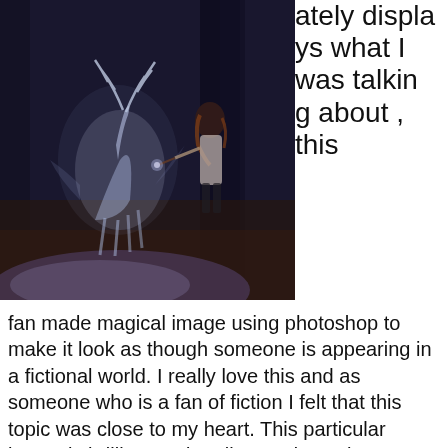[Figure (photo): A fantasy/magical photo showing a glowing white stag (Patronus) conjured in a dark forest, with a young woman holding a wand standing nearby, fan-made Harry Potter inspired photoshop art]
ately displays what I was talking about, this fan made magical image using photoshop to make it look as though someone is appearing in a fictional world. I really love this and as someone who is a fan of fiction I felt that this topic was close to my heart. This particular image is brilliant and really stands out because there is such a detail to the drawing of the Petronas, it’s difficult for you to see that that would